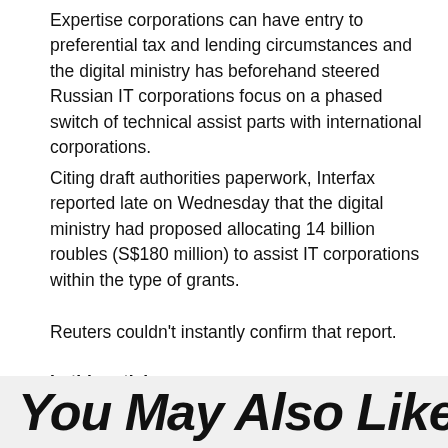Expertise corporations can have entry to preferential tax and lending circumstances and the digital ministry has beforehand steered Russian IT corporations focus on a phased switch of technical assist parts with international corporations.
Citing draft authorities paperwork, Interfax reported late on Wednesday that the digital ministry had proposed allocating 14 billion roubles (S$180 million) to assist IT corporations within the type of grants.
Reuters couldn’t instantly confirm that report.
In this article:
You May Also Like